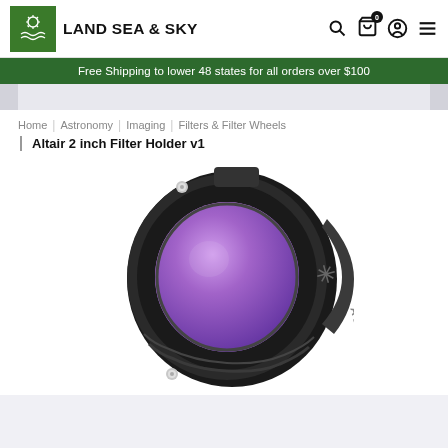LAND SEA & SKY
Free Shipping to lower 48 states for all orders over $100
Home | Astronomy | Imaging | Filters & Filter Wheels
Altair 2 inch Filter Holder v1
[Figure (photo): Black circular Altair 2 inch filter holder with purple/violet coated glass lens, shown at an angle. The device is a round black anodized aluminum filter holder with threaded edges, a small white screw visible on the top, and the Altair brand name engraved on the side.]